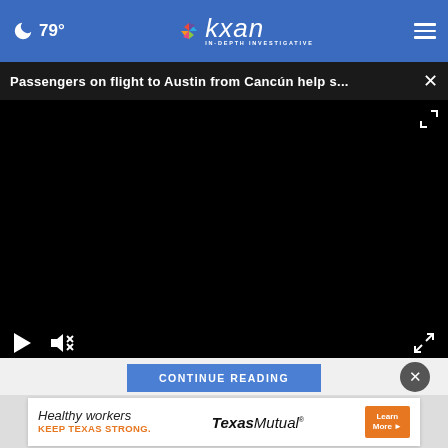79° kxan IN-DEPTH INVESTIGATIVE
Passengers on flight to Austin from Cancún help s...
[Figure (screenshot): Black video player with play and mute controls, fullscreen button]
CONTINUE READING
[Figure (photo): Texas Mutual advertisement: Healthy workers KEEP TEXAS STRONG. Texas Mutual. Learn More.]